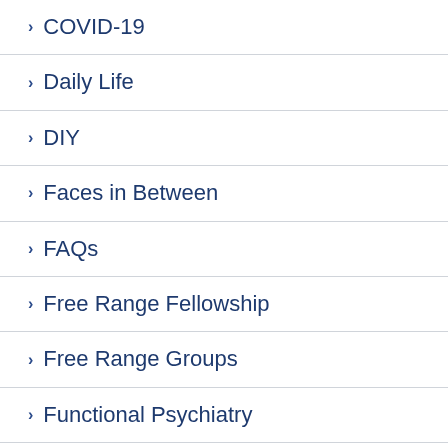COVID-19
Daily Life
DIY
Faces in Between
FAQs
Free Range Fellowship
Free Range Groups
Functional Psychiatry